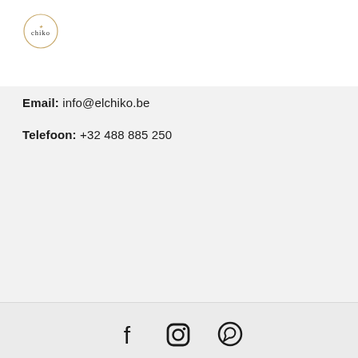[Figure (logo): El Chiko circular logo with text 'chiko' inside]
Email: info@elchiko.be
Telefoon: +32 488 885 250
[Figure (other): Social media icons: Facebook, Instagram, WhatsApp]